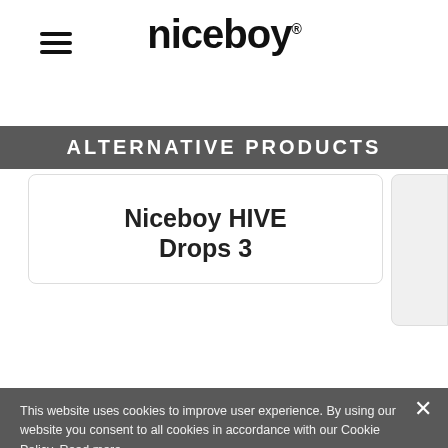[Figure (logo): Niceboy brand logo with hamburger menu icon]
ALTERNATIVE PRODUCTS
Niceboy HIVE Drops 3
This website uses cookies to improve user experience. By using our website you consent to all cookies in accordance with our Cookie Policy. Read more
STRICTLY NECESSARY
PERFORMANCE
TARGETING
FUNCTIONALITY
SHOW DETAILS
ACCEPT ALL
DECLINE ALL
POWERED BY COOKIESCRIPT